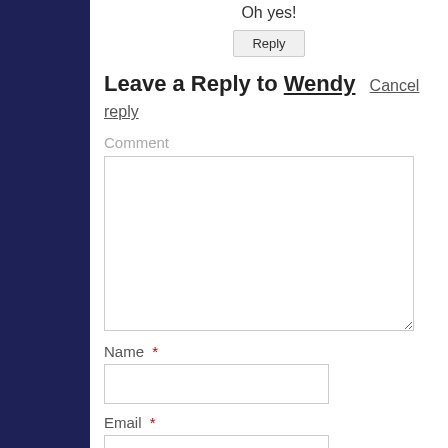Oh yes!
Reply
Leave a Reply to Wendy  Cancel reply
Comment
Name *
Email *